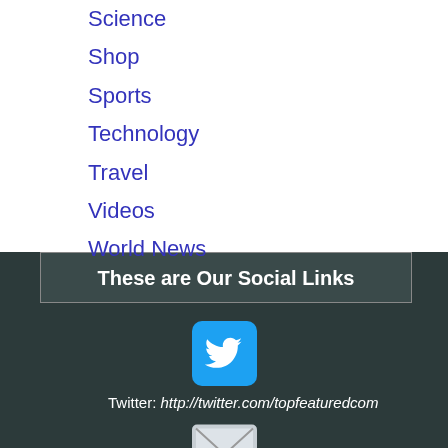Science
Shop
Sports
Technology
Travel
Videos
World News
These are Our Social Links
[Figure (logo): Twitter bird logo icon, cyan/teal background]
Twitter: http://twitter.com/topfeaturedcom
[Figure (logo): Email/mail envelope icon, light gray background]
EMail: info@TopFeatured.com
Copyright© 2022 TopFeatured.com
TopFeatured.com the Internet Search Engine that